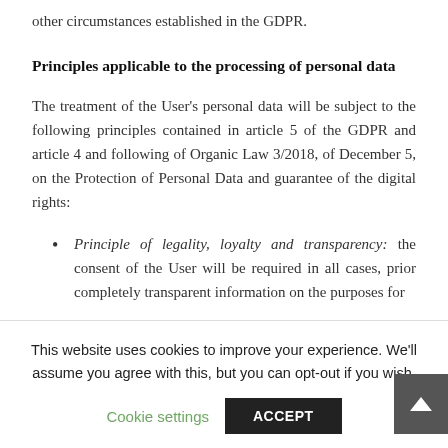other circumstances established in the GDPR.
Principles applicable to the processing of personal data
The treatment of the User's personal data will be subject to the following principles contained in article 5 of the GDPR and article 4 and following of Organic Law 3/2018, of December 5, on the Protection of Personal Data and guarantee of the digital rights:
Principle of legality, loyalty and transparency: the consent of the User will be required in all cases, prior completely transparent information on the purposes for
This website uses cookies to improve your experience. We'll assume you agree with this, but you can opt-out if you wish.
Cookie settings    ACCEPT